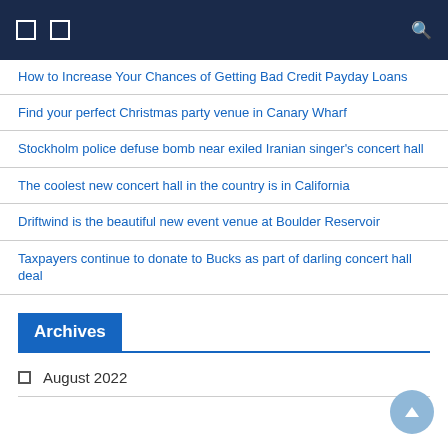Navigation bar with menu icons and search
How to Increase Your Chances of Getting Bad Credit Payday Loans
Find your perfect Christmas party venue in Canary Wharf
Stockholm police defuse bomb near exiled Iranian singer's concert hall
The coolest new concert hall in the country is in California
Driftwind is the beautiful new event venue at Boulder Reservoir
Taxpayers continue to donate to Bucks as part of darling concert hall deal
Archives
August 2022